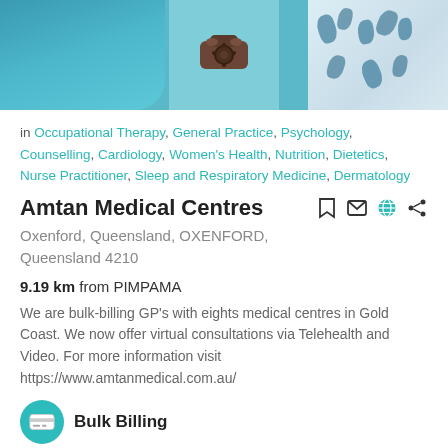[Figure (photo): Photo showing a medical professional in teal scrubs and a vintage rotary phone wall decoration, with a floral pattern book or fabric visible on the right side.]
in Occupational Therapy, General Practice, Psychology, Counselling, Cardiology, Women's Health, Nutrition, Dietetics, Nurse Practitioner, Sleep and Respiratory Medicine, Dermatology
Amtan Medical Centres
Oxenford, Queensland, OXENFORD, Queensland 4210
9.19 km from PIMPAMA
We are bulk-billing GP's with eights medical centres in Gold Coast. We now offer virtual consultations via Telehealth and Video. For more information visit https://www.amtanmedical.com.au/
Bulk Billing